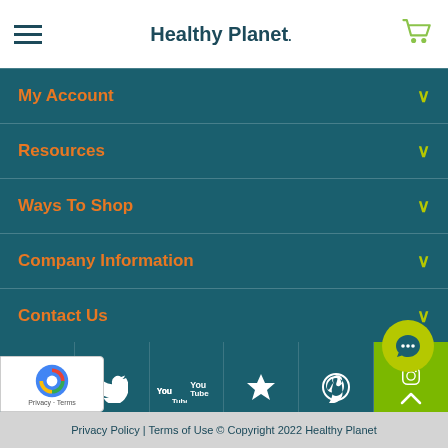Healthy Planet
My Account
Resources
Ways To Shop
Company Information
Contact Us
[Figure (other): Trustpilot 4.5-star rating with 'See our reviews' text]
[Figure (other): Social media icons row: Facebook, Twitter, YouTube, Favorites/Star, Pinterest, Instagram with back-to-top arrow]
Privacy Policy | Terms of Use © Copyright 2022 Healthy Planet